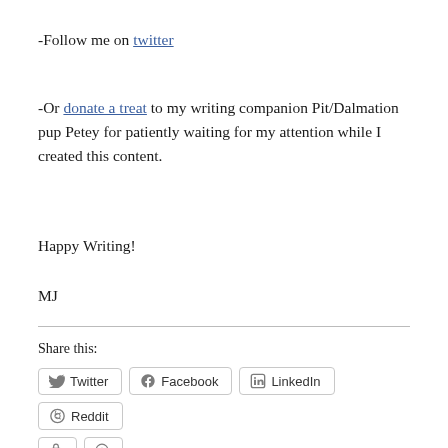-Follow me on twitter
-Or donate a treat to my writing companion Pit/Dalmation pup Petey for patiently waiting for my attention while I created this content.
Happy Writing!
MJ
Share this:
Twitter  Facebook  LinkedIn  Reddit